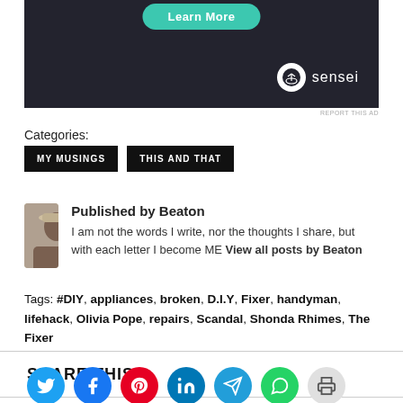[Figure (screenshot): Advertisement banner with dark background, teal 'Learn More' button, and Sensei logo with tree icon]
REPORT THIS AD
Categories:
MY MUSINGS
THIS AND THAT
Published by Beaton
I am not the words I write, nor the thoughts I share, but with each letter I become ME View all posts by Beaton
Tags: #DIY, appliances, broken, D.I.Y, Fixer, handyman, lifehack, Olivia Pope, repairs, Scandal, Shonda Rhimes, The Fixer
SHARE THIS:
[Figure (infographic): Row of social media share buttons: Twitter, Facebook, Pinterest, LinkedIn, Telegram, WhatsApp, Print]